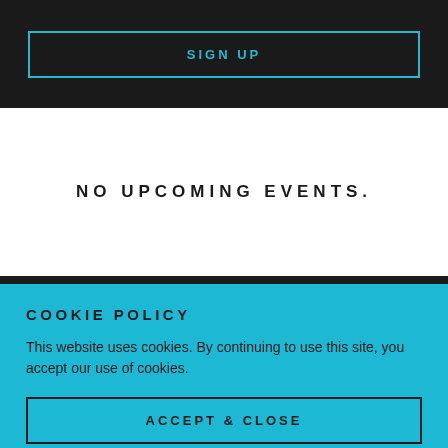SIGN UP
NO UPCOMING EVENTS.
COOKIE POLICY
This website uses cookies. By continuing to use this site, you accept our use of cookies.
ACCEPT & CLOSE